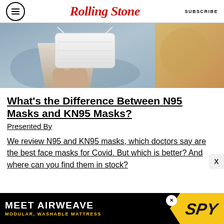Rolling Stone | SUBSCRIBE
[Figure (photo): Person holding a white face mask, blurred outdoor background]
What's the Difference Between N95 Masks and KN95 Masks?
Presented By
We review N95 and KN95 masks, which doctors say are the best face masks for Covid. But which is better? And where can you find them in stock?
[Figure (infographic): Advertisement: MEET AIRWEAVE MODULAR, WASHABLE MATTRESS with SPY logo]